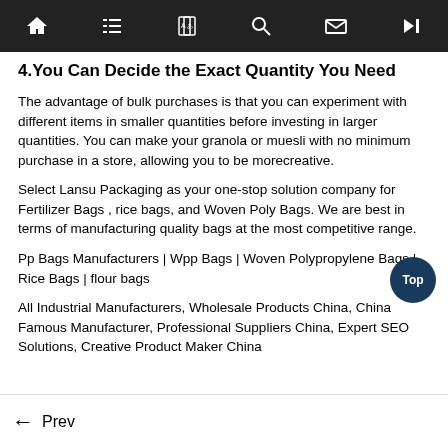Navigation bar with home, list, translate, search, mail, skip icons
4.You Can Decide the Exact Quantity You Need
The advantage of bulk purchases is that you can experiment with different items in smaller quantities before investing in larger quantities. You can make your granola or muesli with no minimum purchase in a store, allowing you to be morecreative.
Select Lansu Packaging as your one-stop solution company for Fertilizer Bags , rice bags, and Woven Poly Bags. We are best in terms of manufacturing quality bags at the most competitive range.
Pp Bags Manufacturers | Wpp Bags | Woven Polypropylene Bags | Rice Bags | flour bags
All Industrial Manufacturers, Wholesale Products China, China Famous Manufacturer, Professional Suppliers China, Expert SEO Solutions, Creative Product Maker China
← Prev